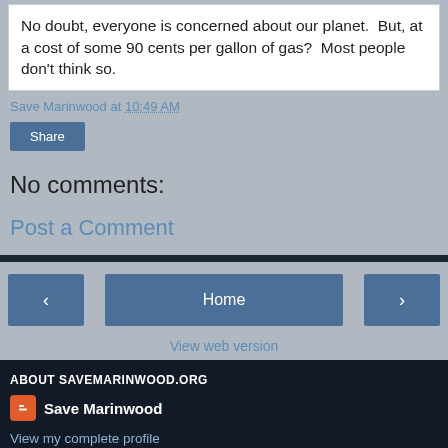No doubt, everyone is concerned about our planet.  But, at a cost of some 90 cents per gallon of gas?  Most people don't think so.
Save Marinwood at 10:49 AM
[Figure (screenshot): Share button]
No comments:
Post a Comment
[Figure (screenshot): Navigation bar with left arrow, Home button, and right arrow buttons, plus View web version link]
ABOUT SAVEMARINWOOD.ORG
Save Marinwood
View my complete profile
Powered by Blogger.